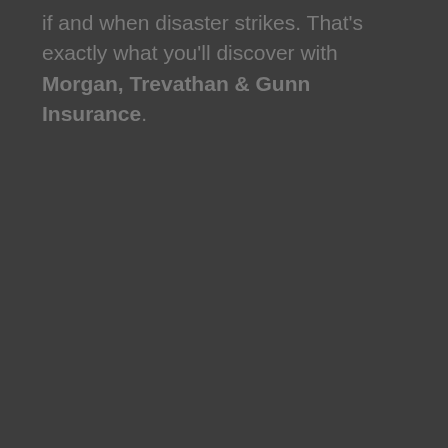if and when disaster strikes. That's exactly what you'll discover with Morgan, Trevathan & Gunn Insurance.